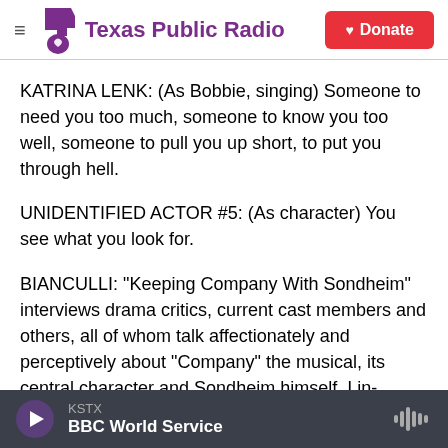Texas Public Radio | Donate
KATRINA LENK: (As Bobbie, singing) Someone to need you too much, someone to know you too well, someone to pull you up short, to put you through hell.
UNIDENTIFIED ACTOR #5: (As character) You see what you look for.
BIANCULLI: "Keeping Company With Sondheim" interviews drama critics, current cast members and others, all of whom talk affectionately and perceptively about "Company" the musical, its central character and Sondheim himself. I in-
KSTX | BBC World Service